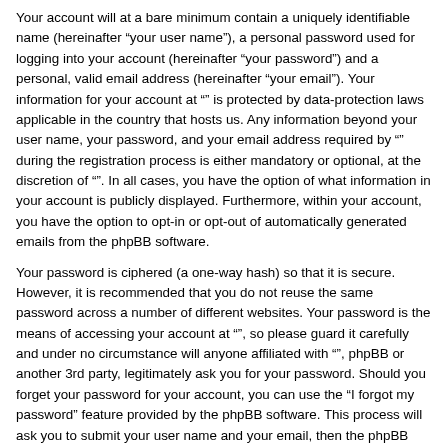Your account will at a bare minimum contain a uniquely identifiable name (hereinafter “your user name”), a personal password used for logging into your account (hereinafter “your password”) and a personal, valid email address (hereinafter “your email”). Your information for your account at “” is protected by data-protection laws applicable in the country that hosts us. Any information beyond your user name, your password, and your email address required by “” during the registration process is either mandatory or optional, at the discretion of “”. In all cases, you have the option of what information in your account is publicly displayed. Furthermore, within your account, you have the option to opt-in or opt-out of automatically generated emails from the phpBB software.
Your password is ciphered (a one-way hash) so that it is secure. However, it is recommended that you do not reuse the same password across a number of different websites. Your password is the means of accessing your account at “”, so please guard it carefully and under no circumstance will anyone affiliated with “”, phpBB or another 3rd party, legitimately ask you for your password. Should you forget your password for your account, you can use the “I forgot my password” feature provided by the phpBB software. This process will ask you to submit your user name and your email, then the phpBB software will generate a new password to reclaim your account.
Board index | Delete cookies | All times are UTC-06:00
Powered by phpBB® Forum Software © phpBB Limited | Privacy | Terms